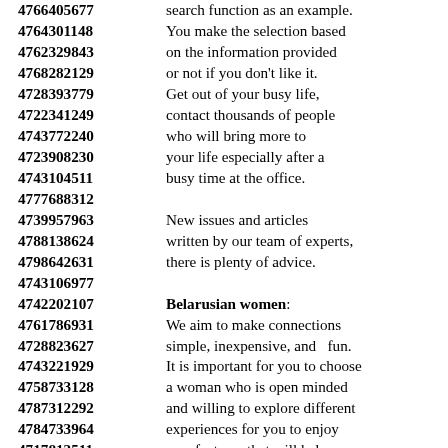4766405677 search function as an example.
4764301148 You make the selection based
4762329843 on the information provided
4768282129 or not if you don't like it.
4728393779 Get out of your busy life,
4722341249 contact thousands of people
4743772240 who will bring more to
4723908230 your life especially after a
4743104511 busy time at the office.
4777688312
4739957963 New issues and articles
4788138624 written by our team of experts,
4798642631 there is plenty of advice.
4743106977
4742202107 Belarusian women:
4761786931 We aim to make connections
4728823627 simple, inexpensive, and fun.
4743221929 It is important for you to choose
4758733128 a woman who is open minded
4787312292 and willing to explore different
4784733964 experiences for you to enjoy
4717813511 new features that will help
4712599618 improve your quality of life.
4745934832 You will be able to get multiple
4795808270 choices of single women
4765080742 to meet your specific needs